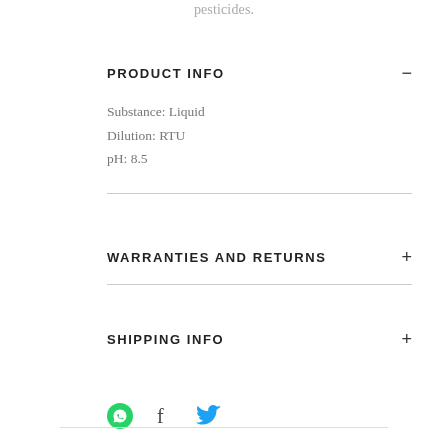pesticides.
PRODUCT INFO
Substance: Liquid
Dilution: RTU
pH: 8.5
WARRANTIES AND RETURNS
SHIPPING INFO
[Figure (other): Social share icons: WhatsApp (green), Facebook (dark), Twitter (blue)]